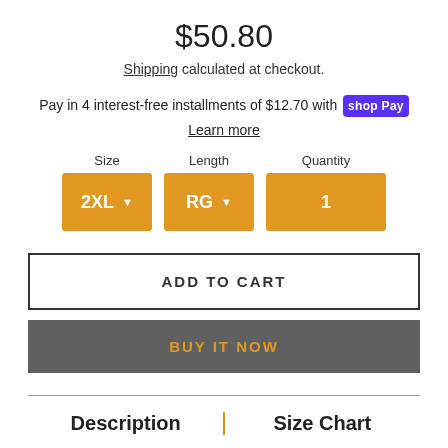$50.80
Shipping calculated at checkout.
Pay in 4 interest-free installments of $12.70 with shop Pay
Learn more
Size: 2XL  Length: RG  Quantity: 1
ADD TO CART
BUY IT NOW
Description  |  Size Chart